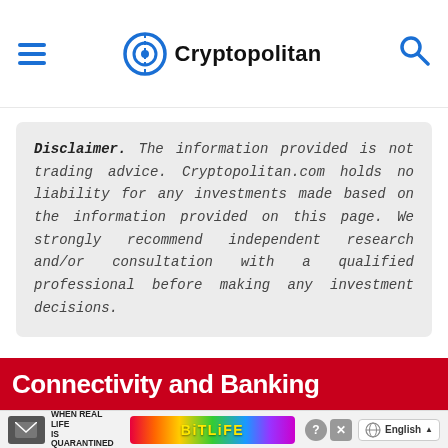Cryptopolitan
Disclaimer. The information provided is not trading advice. Cryptopolitan.com holds no liability for any investments made based on the information provided on this page. We strongly recommend independent research and/or consultation with a qualified professional before making any investment decisions.
[Figure (screenshot): Advertisement banner — Connectivity and Banking, BitLife game ad with rainbow gradient and 'WHEN REAL LIFE IS QUARANTINED' text, English language selector]